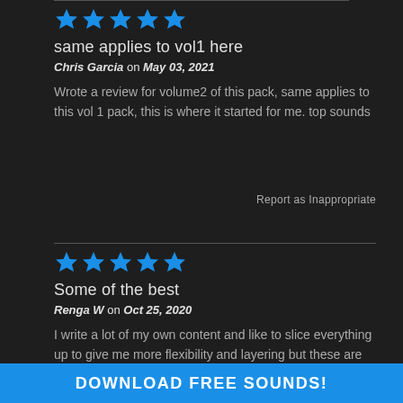[Figure (other): 5-star rating for first review (blue stars)]
same applies to vol1 here
Chris Garcia on May 03, 2021
Wrote a review for volume2 of this pack, same applies to this vol 1 pack, this is where it started for me. top sounds
Report as Inappropriate
[Figure (other): 5-star rating for second review (blue stars)]
Some of the best
Renga W on Oct 25, 2020
I write a lot of my own content and like to slice everything up to give me more flexibility and layering but these are some of the best techno samples I have used, tight, deep and have a bit
DOWNLOAD FREE SOUNDS!